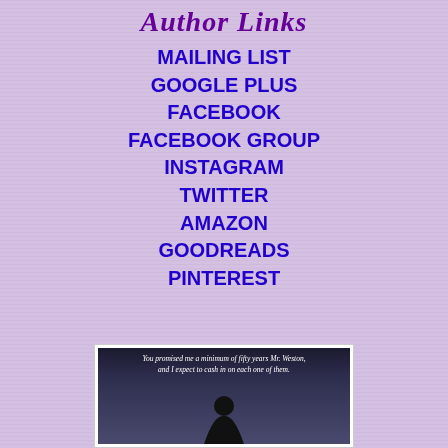Author Links
MAILING LIST
GOOGLE PLUS
FACEBOOK
FACEBOOK GROUP
INSTAGRAM
TWITTER
AMAZON
GOODREADS
PINTEREST
[Figure (photo): Dark romantic image with text quote: 'You promised me a minimum of fifty years Mr. Weston, and I expect to cash in on each one of them.' with a silhouette figure below.]